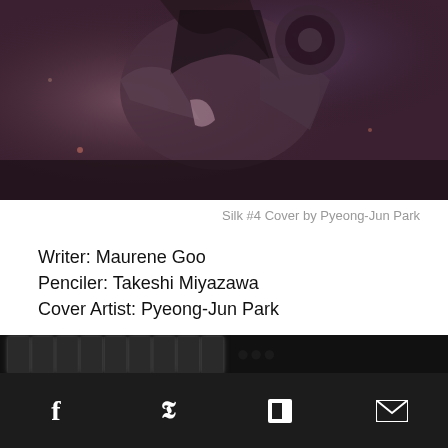[Figure (illustration): Comic book cover art showing mechanical/cyborg figure in dark purple and red tones — partial view of Silk #4 cover]
Silk #4 Cover by Pyeong-Jun Park
Writer: Maurene Goo
Penciler: Takeshi Miyazawa
Cover Artist: Pyeong-Jun Park
INTERVIEW WITH AN EVIL CYBORG! Silk learns the truth about Saya Ishii from a chat with Silvermane! But he’s not about to let her live to tell the tale…Meanwhile, Saya goes toe-to-claw with the cat demon, Kasha!
[Figure (screenshot): Dark bottom bar with partially visible blurred text and social media share icons (Facebook, Twitter, Flipboard, Email)]